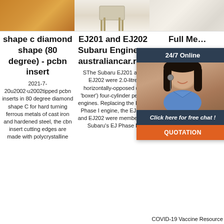[Figure (photo): Three product images in a row: orange/brown furniture item, white chair with wooden legs, cream/white fur or textile item]
shape c diamond shape (80 degree) - pcbn insert
EJ201 and EJ202 Subaru Engines - australiancar.re’s
Full Me…
2021-7-20u2002·u2002tipped pcbn inserts in 80 degree diamond shape C for hard turning ferrous metals of cast iron and hardened steel, the cbn insert cutting edges are made with polycrystalline
SThe Subaru EJ201 and EJ202 were 2.0-litre horizontally-opposed (or 'boxer') four-cylinder petrol engines. Replacing the EJ20 Phase I engine, the EJ201 and EJ202 were members of Subaru's EJ Phase II
agou20
Ovi
Full
Me 
Contar
19 …
Resour
19 R
[Figure (photo): Customer support representative with headset, dark hair, smiling, overlaid with dark navy chat widget showing 24/7 Online, Click here for free chat, and QUOTATION button]
COVID-19 Vaccine Resource page
Master classes P&S Maintenance
System Seminars
Visiting Scientist